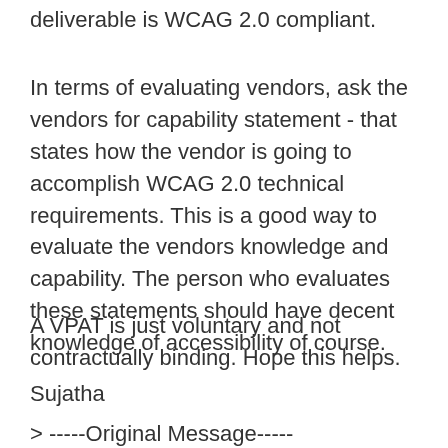deliverable is WCAG 2.0 compliant.
In terms of evaluating vendors, ask the vendors for capability statement - that states how the vendor is going to accomplish WCAG 2.0 technical requirements. This is a good way to evaluate the vendors knowledge and capability. The person who evaluates these statements should have decent knowledge of accessibility of course.
A VPAT is just voluntary and not contractually binding. Hope this helps.
Sujatha
> -----Original Message-----